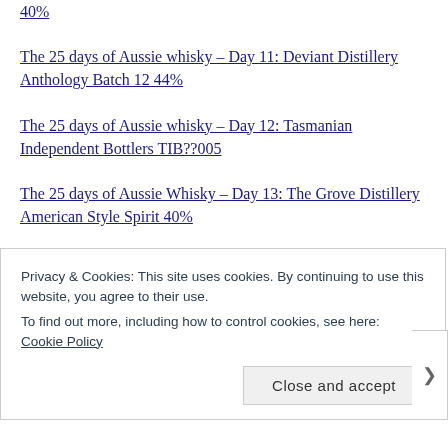40%
The 25 days of Aussie whisky – Day 11: Deviant Distillery Anthology Batch 12 44%
The 25 days of Aussie whisky – Day 12: Tasmanian Independent Bottlers TIB??005
The 25 days of Aussie Whisky – Day 13: The Grove Distillery American Style Spirit 40%
The 25 days of Aussie whisky – Day 14: Timboon Distillery Port Expression 41%
The 25 days of Aussie whisky – Day 15: Castle Glen AWC 4yo Single Malt Whiskey 40%
The 25 days of Aussie whisky – Day 16: Starward Solera
Privacy & Cookies: This site uses cookies. By continuing to use this website, you agree to their use. To find out more, including how to control cookies, see here: Cookie Policy
Close and accept